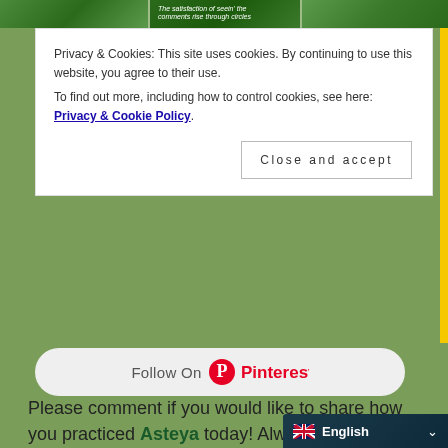[Figure (screenshot): Top strip showing three nature/garden images]
Privacy & Cookies: This site uses cookies. By continuing to use this website, you agree to their use.
To find out more, including how to control cookies, see here: Privacy & Cookie Policy
Close and accept
[Figure (logo): Follow On Pinterest button with Pinterest logo in red]
Please comment if you would like to share how you practiced Asteya today! Always remember, be kind!
LIKE THIS:
Loading...
1
[Figure (infographic): Row of social media sharing icons: Pinterest, Facebook, Messenger, Instagram, Twitter, WordPress, Reddit, grey, Evernote, Email, Copy, More]
1
Shar
[Figure (screenshot): Language selector bar showing English with flag icon]